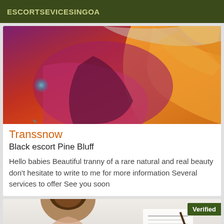ESCORTSEVICESINGOA
[Figure (photo): Close-up photo with warm orange and purple tones, abstract body image]
Transsnow
Black escort Pine Bluff
Hello babies Beautiful tranny of a rare natural and real beauty don't hesitate to write to me for more information Several services to offer See you soon
[Figure (photo): Partial photo showing a person with hair in a bun, reading or writing, with a Verified badge overlay]